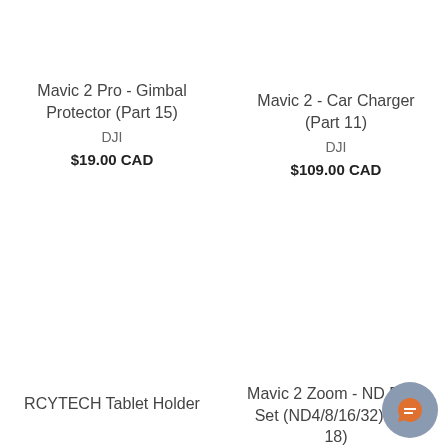Mavic 2 Pro - Gimbal Protector (Part 15)
DJI
$19.00 CAD
Mavic 2 - Car Charger (Part 11)
DJI
$109.00 CAD
RCYTECH Tablet Holder
Mavic 2 Zoom - ND Filter Set (ND4/8/16/32) (Part 18)
[Figure (other): Orange chat bubble icon on gray circular background, positioned bottom-right corner]